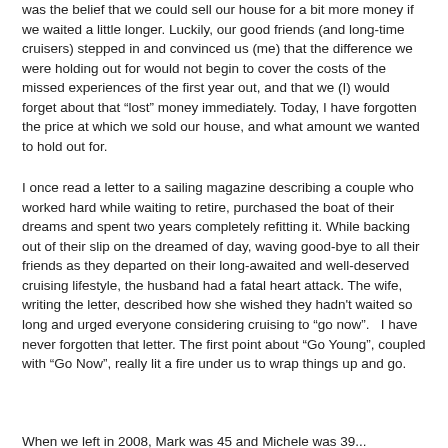was the belief that we could sell our house for a bit more money if we waited a little longer.  Luckily, our good friends (and long-time cruisers) stepped in and convinced us (me) that the difference we were holding out for would not begin to cover the costs of the missed experiences of the first year out, and that we (I) would forget about that “lost” money immediately.  Today, I have forgotten the price at which we sold our house, and what amount we wanted to hold out for.
I once read a letter to a sailing magazine describing a couple who worked hard while waiting to retire, purchased the boat of their dreams and spent two years completely refitting it. While backing out of their slip on the dreamed of day, waving good-bye to all their friends as they departed on their long-awaited and well-deserved cruising lifestyle, the husband had a fatal heart attack.  The wife, writing the letter, described how she wished they hadn’t waited so long and urged everyone considering cruising to “go now”.   I have never forgotten that letter.  The first point about “Go Young”, coupled with “Go Now”, really lit a fire under us to wrap things up and go.
When we left in 2008, Mark was 45 and Michele was 39...